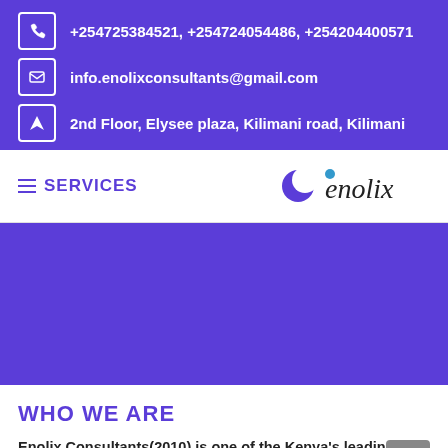+254725384521, +254724054486, +254204400571
info.enolixconsultants@gmail.com
2nd Floor, Elysee plaza, Kilimani road, Kilimani
SERVICES
[Figure (logo): Enolix logo with stylized 'enolix' text and crescent moon icon in purple]
[Figure (other): Purple banner section with no visible content]
WHO WE ARE
Enolix Consultants(2010) is one of the Kenya's leading accredited provider of General Business Consulting Services